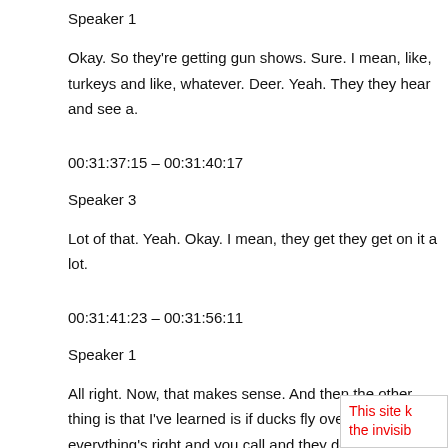Speaker 1
Okay. So they're getting gun shows. Sure. I mean, like, turkeys and like, whatever. Deer. Yeah. They they hear and see a.
00:31:37:15 – 00:31:40:17
Speaker 3
Lot of that. Yeah. Okay. I mean, they get they get on it a lot.
00:31:41:23 – 00:31:56:11
Speaker 1
All right. Now, that makes sense. And then the other thing is that I've learned is if ducks fly over and you're everything's right and you call and they don't land, they saw you. You weren't hidden good enough. You think you were, but you might not have been.
00:31:57:17 – 00:31:58:05
This site k the invisib